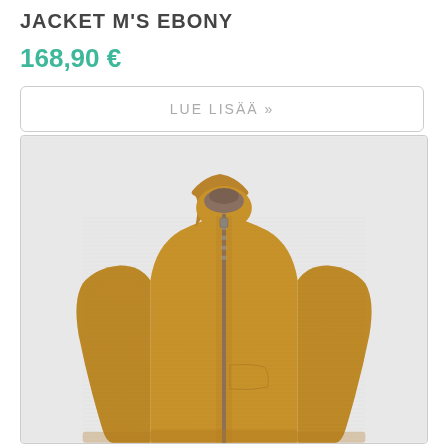JACKET M'S EBONY
168,90 €
LUE LISÄÄ »
[Figure (photo): A mustard/golden yellow full-zip fleece jacket with a high collar and a grey zipper, worn on a headless mannequin, displayed against a light grey background.]